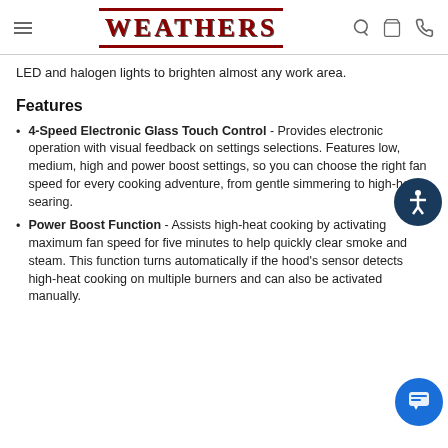WEATHERS
LED and halogen lights to brighten almost any work area.
Features
4-Speed Electronic Glass Touch Control - Provides electronic operation with visual feedback on settings selections. Features low, medium, high and power boost settings, so you can choose the right fan speed for every cooking adventure, from gentle simmering to high-heat searing.
Power Boost Function - Assists high-heat cooking by activating maximum fan speed for five minutes to help quickly clear smoke and steam. This function turns automatically if the hood's sensor detects high-heat cooking on multiple burners and can also be activated manually.